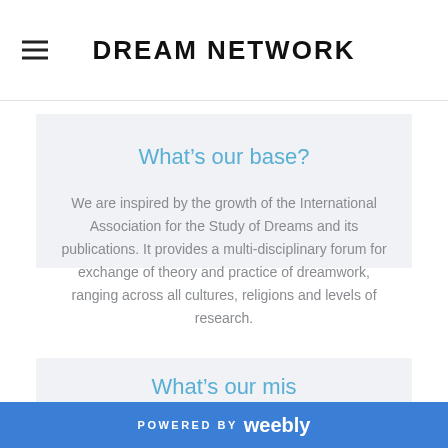DREAM NETWORK
What’s our base?
We are inspired by the growth of the International Association for the Study of Dreams and its publications. It provides a multi-disciplinary forum for exchange of theory and practice of dreamwork, ranging across all cultures, religions and levels of research.
What’s our mis
POWERED BY weebly